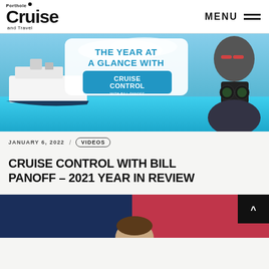Porthole Cruise and Travel — MENU
[Figure (photo): Banner image for 'The Year at a Glance with Cruise Control with Bill Panoff' — shows a cruise ship on turquoise water on the left, bold text in the center reading 'THE YEAR AT A GLANCE WITH' and 'CRUISE CONTROL WITH BILL PANOFF', and a man with red glasses holding binoculars on the right.]
JANUARY 6, 2022  /  VIDEOS
CRUISE CONTROL WITH BILL PANOFF – 2021 YEAR IN REVIEW
[Figure (photo): Bottom partial image showing a video thumbnail with dark navy and red background and a man's head visible at the bottom, with a dark scroll-to-top button in the upper right corner.]